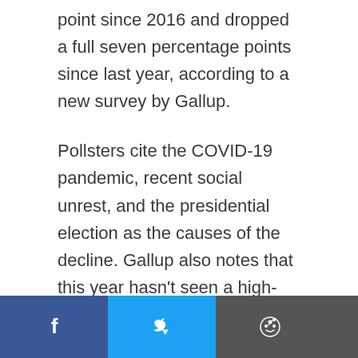point since 2016 and dropped a full seven percentage points since last year, according to a new survey by Gallup.
Pollsters cite the COVID-19 pandemic, recent social unrest, and the presidential election as the causes of the decline. Gallup also notes that this year hasn't seen a high-profile mass murder, which often cause support for gun control to rise.
[Figure (other): Social share buttons bar at the bottom: Facebook (blue), Twitter (light blue), Reddit (dark gray), Email (dark gray)]